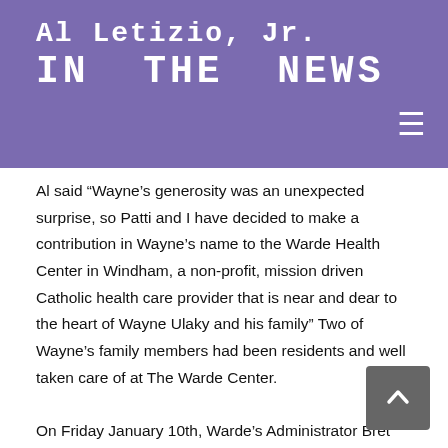Al Letizio, Jr. IN THE NEWS
Al said “Wayne’s generosity was an unexpected surprise, so Patti and I have decided to make a contribution in Wayne’s name to the Warde Health Center in Windham, a non-profit, mission driven Catholic health care provider that is near and dear to the heart of Wayne Ulaky and his family” Two of Wayne’s family members had been residents and well taken care of at The Warde Center.

On Friday January 10th, Warde’s Administrator Bret Pomeroy and Director of Admissions and Social Services